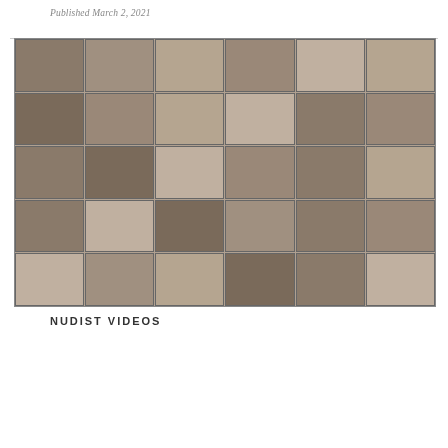Published March 2, 2021
[Figure (photo): Grid of 30 thumbnail video preview images arranged in 5 rows and 6 columns, showing beach/outdoor scenes]
NUDIST VIDEOS